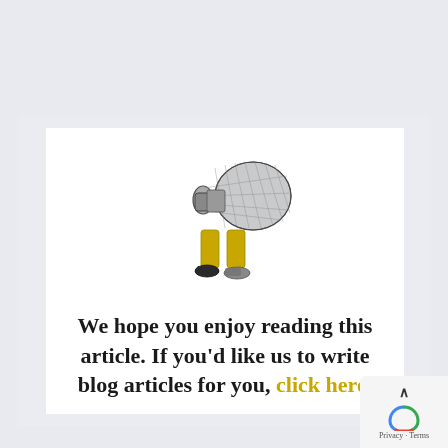[Figure (illustration): Cartoon illustration of a megaphone/bullhorn with human legs wearing yellow pants and black shoes, walking]
We hope you enjoy reading this article. If you'd like us to write blog articles for you, click here.